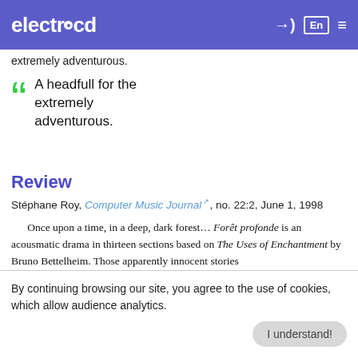electrocd
extremely adventurous.
A headfull for the extremely adventurous.
Review
Stéphane Roy, Computer Music Journal, no. 22:2, June 1, 1998
Once upon a time, in a deep, dark forest… Forêt profonde is an acousmatic drama in thirteen sections based on The Uses of Enchantment by Bruno Bettelheim. Those apparently innocent stories
By continuing browsing our site, you agree to the use of cookies, which allow audience analytics.